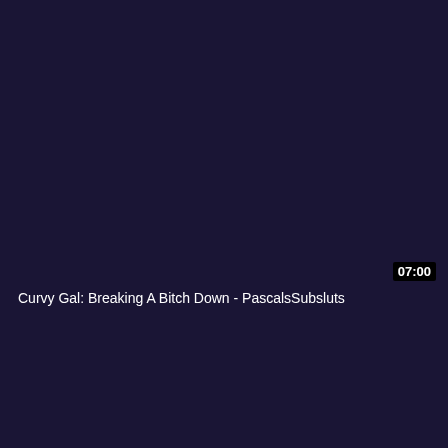[Figure (screenshot): Dark navy/purple video thumbnail background, nearly solid dark color with no visible image content]
07:00
Curvy Gal: Breaking A Bitch Down - PascalsSubsluts